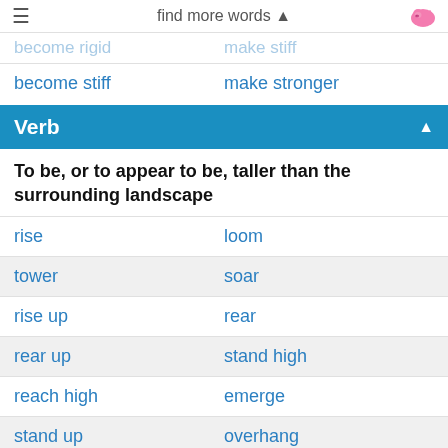find more words ▲
become rigid | make stiff
become stiff | make stronger
Verb
To be, or to appear to be, taller than the surrounding landscape
rise | loom
tower | soar
rise up | rear
rear up | stand high
reach high | emerge
stand up | overhang
dominate | overshadow
mount | overtop
hang over | hover